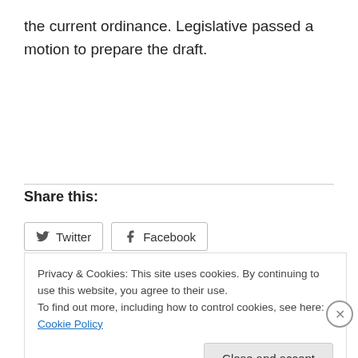the current ordinance. Legislative passed a motion to prepare the draft.
Share this:
Twitter  Facebook
Privacy & Cookies: This site uses cookies. By continuing to use this website, you agree to their use.
To find out more, including how to control cookies, see here: Cookie Policy
Close and accept